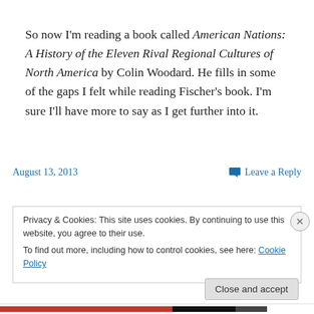So now I'm reading a book called American Nations: A History of the Eleven Rival Regional Cultures of North America by Colin Woodard. He fills in some of the gaps I felt while reading Fischer's book. I'm sure I'll have more to say as I get further into it.
August 13, 2013   Leave a Reply
Privacy & Cookies: This site uses cookies. By continuing to use this website, you agree to their use. To find out more, including how to control cookies, see here: Cookie Policy
Close and accept